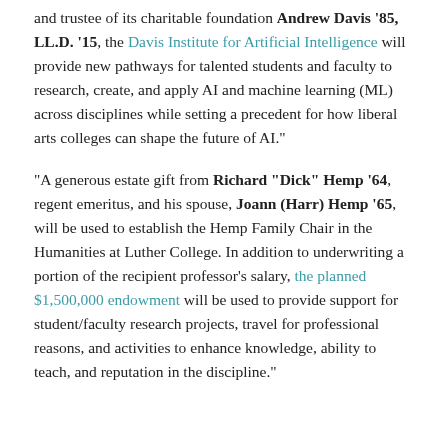and trustee of its charitable foundation Andrew Davis '85, LL.D. '15, the Davis Institute for Artificial Intelligence will provide new pathways for talented students and faculty to research, create, and apply AI and machine learning (ML) across disciplines while setting a precedent for how liberal arts colleges can shape the future of AI."
"A generous estate gift from Richard "Dick" Hemp '64, regent emeritus, and his spouse, Joann (Harr) Hemp '65, will be used to establish the Hemp Family Chair in the Humanities at Luther College. In addition to underwriting a portion of the recipient professor's salary, the planned $1,500,000 endowment will be used to provide support for student/faculty research projects, travel for professional reasons, and activities to enhance knowledge, ability to teach, and reputation in the discipline."